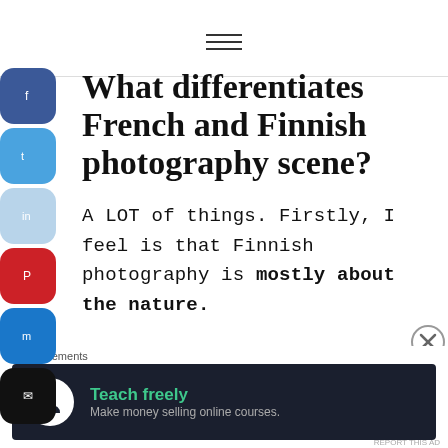≡ (hamburger menu icon)
What differentiates French and Finnish photography scene?
A LOT of things. Firstly, I feel is that Finnish photography is mostly about the nature.
Advertisements
[Figure (infographic): Dark advertisement banner reading 'Teach freely – Make money selling online courses.' with a house/person icon on white circle background.]